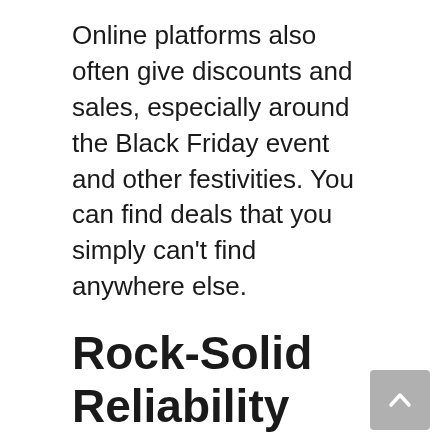Online platforms also often give discounts and sales, especially around the Black Friday event and other festivities. You can find deals that you simply can't find anywhere else.
Rock-Solid Reliability
Reliability is one key concern when you buy from an online retailer without physically testing the product. You simply don't have the option to check the product before buying, so you must rely on the site.
Thankfully, online platforms usually offer warranty and easy replacement on many